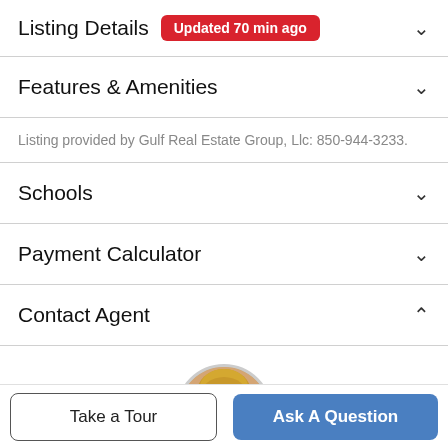Listing Details — Updated 70 min ago
Features & Amenities
Listing provided by Gulf Real Estate Group, Llc: 850-944-3233.
Schools
Payment Calculator
Contact Agent
[Figure (photo): Circular headshot photo of a female real estate agent with blonde hair, smiling.]
Take a Tour
Ask A Question